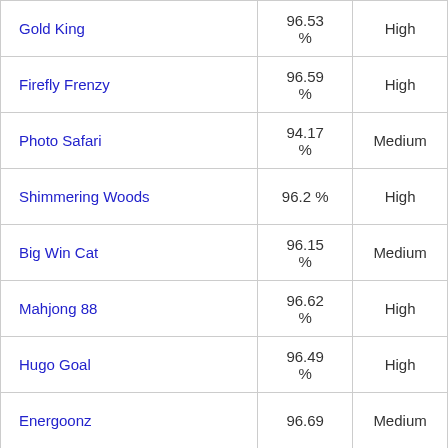| Gold King | 96.53 % | High |
| Firefly Frenzy | 96.59 % | High |
| Photo Safari | 94.17 % | Medium |
| Shimmering Woods | 96.2 % | High |
| Big Win Cat | 96.15 % | Medium |
| Mahjong 88 | 96.62 % | High |
| Hugo Goal | 96.49 % | High |
| Energoonz | 96.69 | Medium |